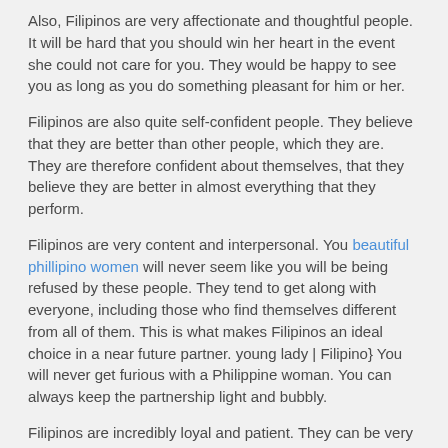Also, Filipinos are very affectionate and thoughtful people. It will be hard that you should win her heart in the event she could not care for you. They would be happy to see you as long as you do something pleasant for him or her.
Filipinos are also quite self-confident people. They believe that they are better than other people, which they are. They are therefore confident about themselves, that they believe they are better in almost everything that they perform.
Filipinos are very content and interpersonal. You beautiful phillipino women will never seem like you will be being refused by these people. They tend to get along with everyone, including those who find themselves different from all of them. This is what makes Filipinos an ideal choice in a near future partner. young lady | Filipino} You will never get furious with a Philippine woman. You can always keep the partnership light and bubbly.
Filipinos are incredibly loyal and patient. They can be very very good parents. They have been brought up in a way that